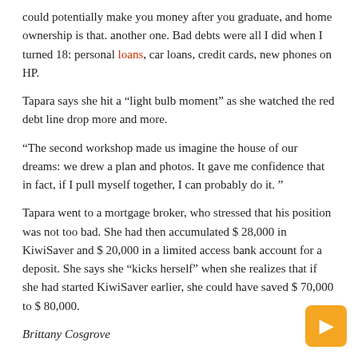could potentially make you money after you graduate, and home ownership is that. another one. Bad debts were all I did when I turned 18: personal loans, car loans, credit cards, new phones on HP.
Tapara says she hit a “light bulb moment” as she watched the red debt line drop more and more.
“The second workshop made us imagine the house of our dreams: we drew a plan and photos. It gave me confidence that in fact, if I pull myself together, I can probably do it. ”
Tapara went to a mortgage broker, who stressed that his position was not too bad. She had then accumulated $ 28,000 in KiwiSaver and $ 20,000 in a limited access bank account for a deposit. She says she “kicks herself” when she realizes that if she had started KiwiSaver earlier, she could have saved $ 70,000 to $ 80,000.
Brittany Cosgrove
Brittany Cosgrove says she would rather live in a van than work for rent in Wellington’s dead end housing market. Video first published